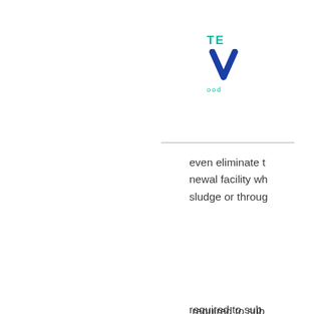[Figure (logo): Partial logo showing 'TE' in teal, a blue checkmark/W shape, and 'ood' text in teal]
even eliminate t newal facility wh sludge or throug
required to sub e Compliance Re amalgam separ gement practices ialgam to the sev oxidizing and ac ng dental offices y 14, 2017, must